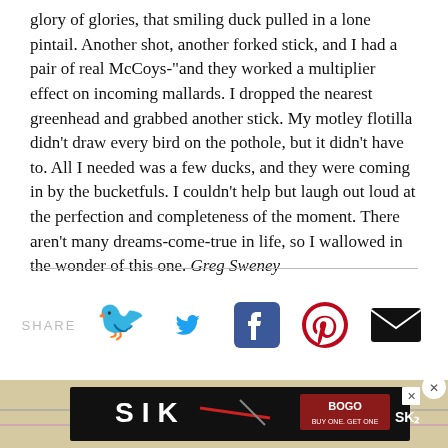glory of glories, that smiling duck pulled in a lone pintail. Another shot, another forked stick, and I had a pair of real McCoys-"and they worked a multiplier effect on incoming mallards. I dropped the nearest greenhead and grabbed another stick. My motley flotilla didn't draw every bird on the pothole, but it didn't have to. All I needed was a few ducks, and they were coming in by the bucketfuls. I couldn't help but laugh out loud at the perfection and completeness of the moment. There aren't many dreams-come-true in life, so I wallowed in the wonder of this one. Greg Sweney
[Figure (infographic): Social share buttons: SHARE label followed by Twitter (blue bird), Facebook (blue f), Pinterest (red P), and email (black envelope) icons]
[Figure (infographic): Advertisement banner for SIK (crossbow/archery brand) with BOGO BUY ONE GET ONE offer, overlaid on a map background. Close button (circle with X) in top-right corner.]